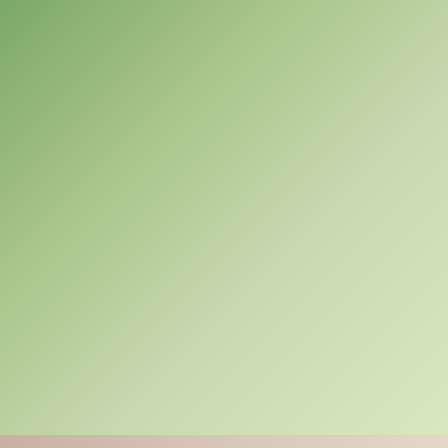[Figure (photo): Top of page photo showing people on steps of a house with greenery around them]
Home Improvement Tips That Return The Best Value to Your Home
BY FOUR SQUARE CONSTRUCTION · JANUARY 23, 2020 · 1.1K VIEWS
Table of Contents Home Improvement Tips For Best Value to Your HomeDo it Yourself or Hire a Contractor?1....
E — EXTERIOR HOME IMPROVEMENT
[Figure (photo): Bottom photo showing close-up of exterior home improvement work]